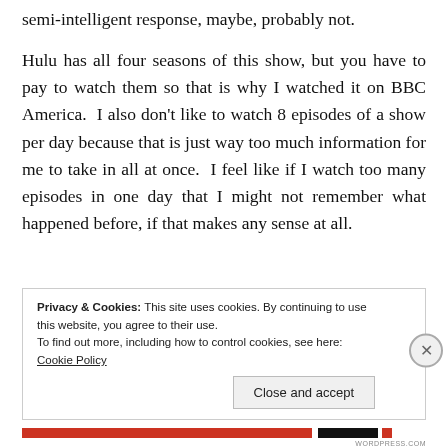semi-intelligent response, maybe, probably not.
Hulu has all four seasons of this show, but you have to pay to watch them so that is why I watched it on BBC America.  I also don't like to watch 8 episodes of a show per day because that is just way too much information for me to take in all at once.  I feel like if I watch too many episodes in one day that I might not remember what happened before, if that makes any sense at all.
Privacy & Cookies: This site uses cookies. By continuing to use this website, you agree to their use.
To find out more, including how to control cookies, see here: Cookie Policy
Close and accept